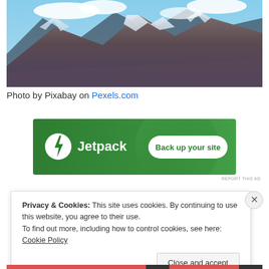[Figure (photo): Mountain landscape photo with snow-capped peaks and clouds, blue sky visible at top]
Photo by Pixabay on Pexels.com
[Figure (infographic): Jetpack advertisement banner with green background. Shows Jetpack logo (lightning bolt in circle) on left and 'Back up your site' button on right]
REPORT THIS AD
Privacy & Cookies: This site uses cookies. By continuing to use this website, you agree to their use.
To find out more, including how to control cookies, see here: Cookie Policy
Close and accept